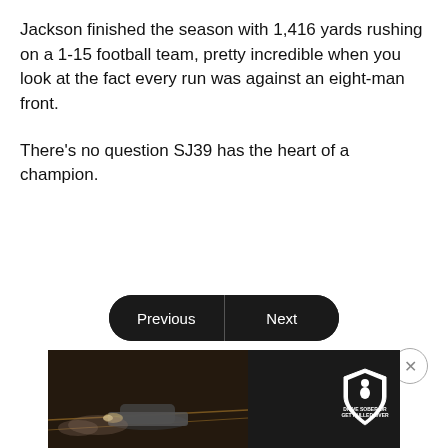Jackson finished the season with 1,416 yards rushing on a 1-15 football team, pretty incredible when you look at the fact every run was against an eight-man front.

There's no question SJ39 has the heart of a champion.
[Figure (other): Navigation buttons: Previous and Next, pill-shaped dark buttons side by side]
[Figure (other): Close button: circular outline with X symbol]
[Figure (other): NHTSA advertisement banner: dark background with car image, yellow text SEE THE STORY >> with arrows, NHTSA logo, DRIVE SOBER OR GET PULLED OVER shield logo]